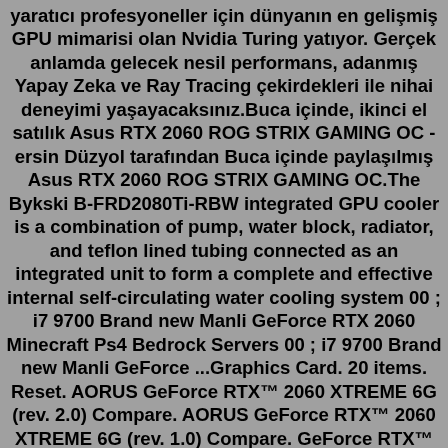yaratıcı profesyoneller için dünyanın en gelişmiş GPU mimarisi olan Nvidia Turing yatıyor. Gerçek anlamda gelecek nesil performans, adanmış Yapay Zeka ve Ray Tracing çekirdekleri ile nihai deneyimi yaşayacaksınız.Buca içinde, ikinci el satılık Asus RTX 2060 ROG STRIX GAMING OC - ersin Düzyol tarafından Buca içinde paylaşılmış Asus RTX 2060 ROG STRIX GAMING OC.The Bykski B-FRD2080Ti-RBW integrated GPU cooler is a combination of pump, water block, radiator, and teflon lined tubing connected as an integrated unit to form a complete and effective internal self-circulating water cooling system 00 ; i7 9700 Brand new Manli GeForce RTX 2060 Minecraft Ps4 Bedrock Servers 00 ; i7 9700 Brand new Manli GeForce ...Graphics Card. 20 items. Reset. AORUS GeForce RTX™ 2060 XTREME 6G (rev. 2.0) Compare. AORUS GeForce RTX™ 2060 XTREME 6G (rev. 1.0) Compare. GeForce RTX™ 2060 GAMING OC PRO WHITE 6G. Compare. Gigabyte Aorus 7: 17 Improving what the EVGA GeForce RTX™ 2060 started, the new